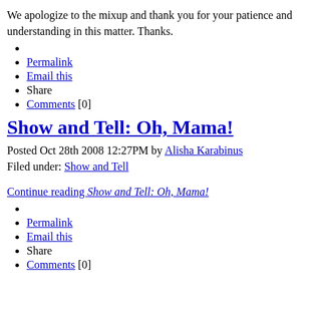We apologize to the mixup and thank you for your patience and understanding in this matter. Thanks.
Permalink
Email this
Share
Comments [0]
Show and Tell: Oh, Mama!
Posted Oct 28th 2008 12:27PM by Alisha Karabinus
Filed under: Show and Tell
Continue reading Show and Tell: Oh, Mama!
Permalink
Email this
Share
Comments [0]